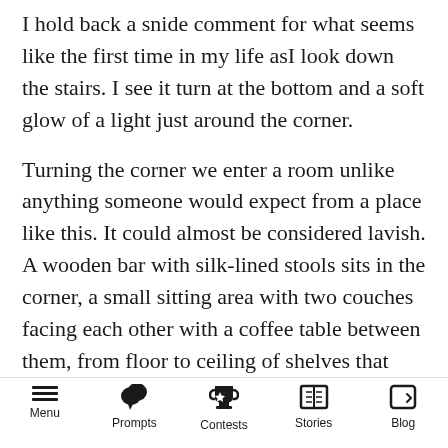I hold back a snide comment for what seems like the first time in my life asI look down the stairs. I see it turn at the bottom and a soft glow of a light just around the corner.
Turning the corner we enter a room unlike anything someone would expect from a place like this. It could almost be considered lavish. A wooden bar with silk-lined stools sits in the corner, a small sitting area with two couches facing each other with a coffee table between them, from floor to ceiling of shelves that hold mostly books along with a few other trinkets, and at the center of it all a large circle table that
Menu   Prompts   Contests   Stories   Blog